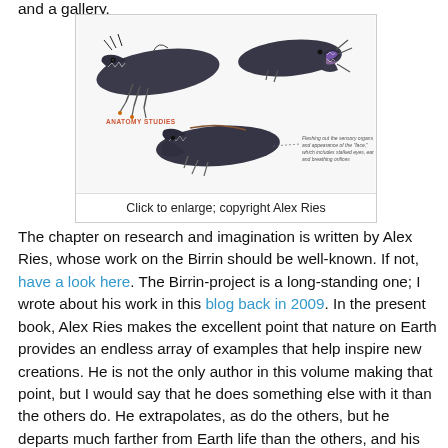and a gallery.
[Figure (illustration): Anatomy studies of an alien creature called the Birrin, showing three views of a dark, elongated creature with insect-like legs and open jaws. Labeled 'ANATOMY STUDIES' with annotation text about sensory organs.]
Click to enlarge; copyright Alex Ries
The chapter on research and imagination is written by Alex Ries, whose work on the Birrin should be well-known. If not, have a look here. The Birrin-project is a long-standing one; I wrote about his work in this blog back in 2009. In the present book, Alex Ries makes the excellent point that nature on Earth provides an endless array of examples that help inspire new creations. He is not the only author in this volume making that point, but I would say that he does something else with it than the others do. He extrapolates, as do the others, but he departs much farther from Earth life than the others, and his aliens have a more alien ring to it